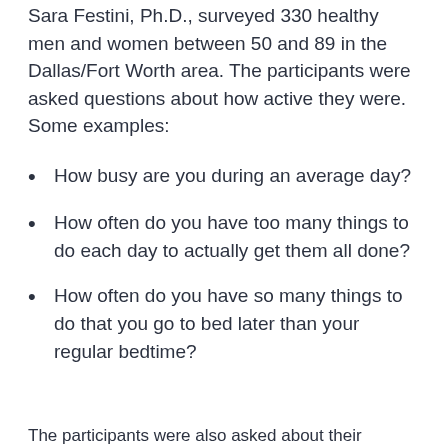Sara Festini, Ph.D., surveyed 330 healthy men and women between 50 and 89 in the Dallas/Fort Worth area. The participants were asked questions about how active they were. Some examples:
How busy are you during an average day?
How often do you have too many things to do each day to actually get them all done?
How often do you have so many things to do that you go to bed later than your regular bedtime?
The participants were also asked about their